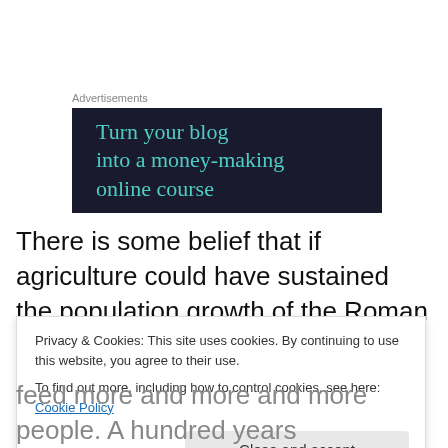Advertisements
[Figure (screenshot): Dark navy advertisement banner with teal serif text reading 'Turn your blog into a money-making online course']
There is some belief that if agriculture could have sustained the population growth of the Roman period and again around 1650. the English countryside would have
Privacy & Cookies: This site uses cookies. By continuing to use this website, you agree to their use.
To find out more, including how to control cookies, see here: Cookie Policy
feed more and more and more people. A hundred years